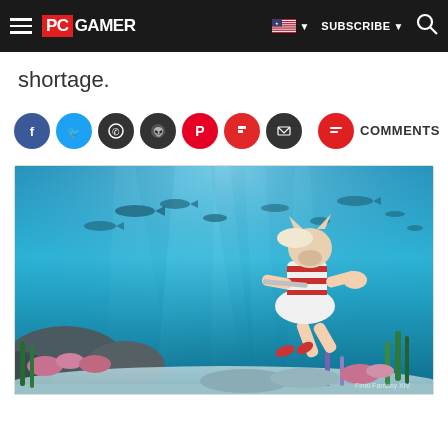PC GAMER - navigation bar with hamburger menu, PC GAMER logo, US flag, SUBSCRIBE, search icon
shortage.
[Figure (infographic): Social sharing icons row: Facebook (blue), Twitter (blue), WhatsApp (dark), Reddit (dark), Pinterest (red), Flipboard (red), Email (dark), divider, Comments (red) with COMMENTS label]
[Figure (photo): Underwater video game screenshot showing a female character in a red-and-white striped swimsuit with a horse/animal mask, swimming in a vibrant underwater environment with coral, rocks, fish, and rays of light coming from the surface. Game appears to be a JRPG or action game.]